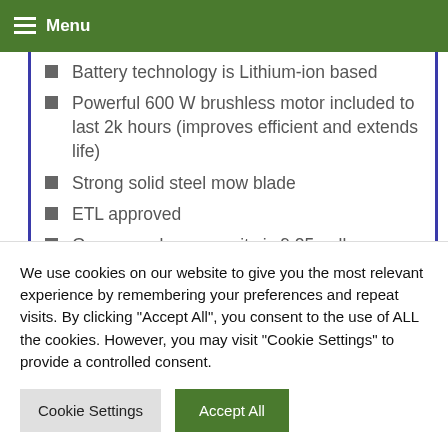Menu
Battery technology is Lithium-ion based
Powerful 600 W brushless motor included to last 2k hours (improves efficient and extends life)
Strong solid steel mow blade
ETL approved
Grass rear bag capacity is 9.25 gallons
Weight is 37.3 lb
Wheel sizes are 8 inches at the back and 6
We use cookies on our website to give you the most relevant experience by remembering your preferences and repeat visits. By clicking "Accept All", you consent to the use of ALL the cookies. However, you may visit "Cookie Settings" to provide a controlled consent.
Cookie Settings | Accept All